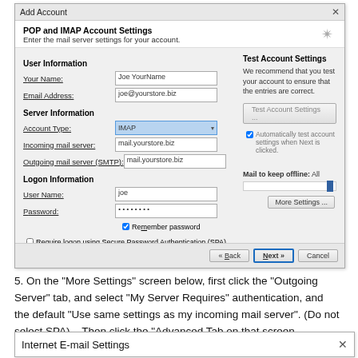[Figure (screenshot): Add Account dialog showing POP and IMAP Account Settings with fields for User Information (Your Name: Joe YourName, Email Address: joe@yourstore.biz), Server Information (Account Type: IMAP dropdown, Incoming mail server: mail.yourstore.biz, Outgoing mail server (SMTP): mail.yourstore.biz), Logon Information (User Name: joe, Password: ******, Remember password checkbox), Require logon using Secure Password Authentication (SPA) checkbox, Test Account Settings panel on right, Mail to keep offline: All slider, More Settings button, and Back/Next/Cancel navigation buttons.]
5. On the “More Settings” screen below, first click the “Outgoing Server” tab, and select “My Server Requires” authentication, and the default “Use same settings as my incoming mail server”. (Do not select SPA).   Then click the “Advanced Tab on that screen.
[Figure (screenshot): Internet E-mail Settings dialog title bar (partial view at bottom of page).]